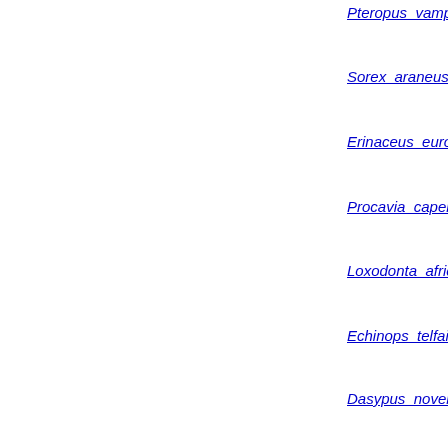Pteropus_vampyrus_76_1
Sorex_araneus_76_1
Erinaceus_europaeus_76
Procavia_capensis_76_1
Loxodonta_africana_76_3
Echinops_telfairi_76
Dasypus_novemcinctus_76_2
Choloepus_hoffmanni_76_1
Macropus_eugenii_76_1.0
Sarcophilus_harrisii_76_7.0
Monodelphis_domestica_76_5
Ornithorhynchus_anatinus_76_5
Saccoglossus_kowalevskii_v3.0